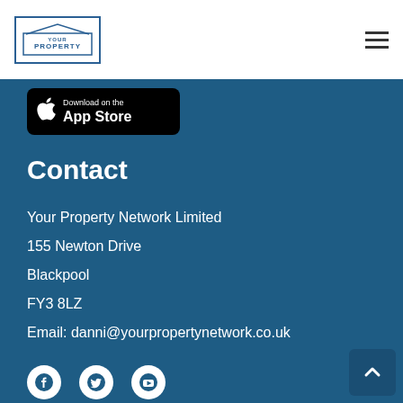YOUR PROPERTY NETWORK
[Figure (logo): Download on the App Store badge]
Contact
Your Property Network Limited
155 Newton Drive
Blackpool
FY3 8LZ
Email: danni@yourpropertynetwork.co.uk
[Figure (infographic): Social media icons: Facebook, Twitter, YouTube]
© 2020 Your Property Network Ltd. Company Reg No: 03711882 VAT Reg No: 933893879